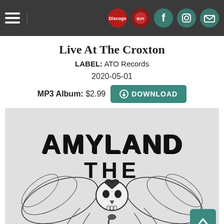Live At The Croxton
LABEL: ATO Records
2020-05-01
MP3 Album: $2.99 DOWNLOAD
[Figure (illustration): Album cover art for 'Amyl and The' featuring a decorative skull with wings and snake motif in black and white illustration style, with heavy metal style band logo lettering at the top.]